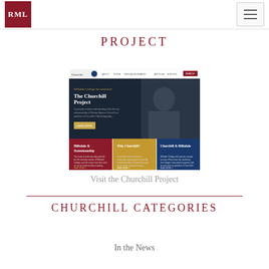RML
PROJECT
[Figure (screenshot): Screenshot of The Churchill Project website by Hillsdale College, showing navigation bar, a hero image with Winston Churchill and the heading 'Hillsdale College has launched The Churchill Project', and three content tiles: 'Hillsdale & Statesmanship', 'Why Churchill?', and 'Churchill & Hillsdale']
Visit the Churchill Project
CHURCHILL CATEGORIES
In the News